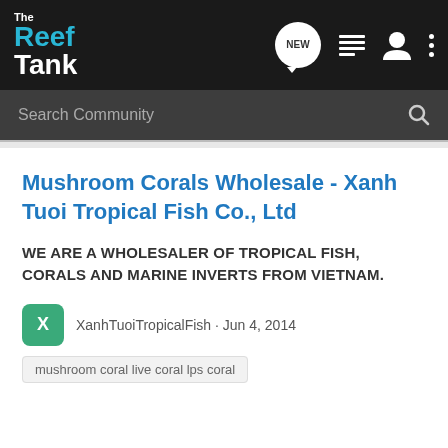The Reef Tank
Mushroom Corals Wholesale - Xanh Tuoi Tropical Fish Co., Ltd
WE ARE A WHOLESALER OF TROPICAL FISH, CORALS AND MARINE INVERTS FROM VIETNAM.
XanhTuoiTropicalFish · Jun 4, 2014
mushroom coral live coral lps coral